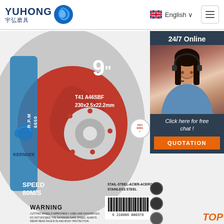[Figure (logo): Yuhong logo with Chinese text 宇弘磨具 and blue swirl icon]
English ∨
[Figure (photo): Product photo of a 9-inch grinding/cutting wheel (KEENDEE brand). Red and grey disc with blue stripe. Text: T41 A46SBF 230x2.5x22.2mm, R.P.M 6650, SPEED 80M/S, STAIL-STEEL-ACIER-ACERO STAINLESS STEEL. Barcode 6210906000378. Side panel: 24/7 Online, woman with headset, Click here for free chat!, QUOTATION button.]
24/7 Online
Click here for free chat !
QUOTATION
9"
T41 A46SBF
230x2.5x22.2mm
R.P.M
6650
SPEED
80M/S
STAIL-STEEL-ACIER-ACERO
STAINLESS STEEL
WARNING
CUTTING WHEELS IMPROPERLY USED ARE DANGEROUS. DO NOT EXCEED THE MAXIMUM SAFE SPEED. ALWAYS WEAR HEAD FACE EYE AND BODY PROTECTION. COMPLY WITH ANSI B7.1, AS1758.1, BS4481,AS & O.S.H.A. ETC.NATIONAL SAFETY REGULATIONS. COVERING WHEEL SPEED, SAFETY GUARD,AND FLANGES. MOUNTING PROCEDURES.